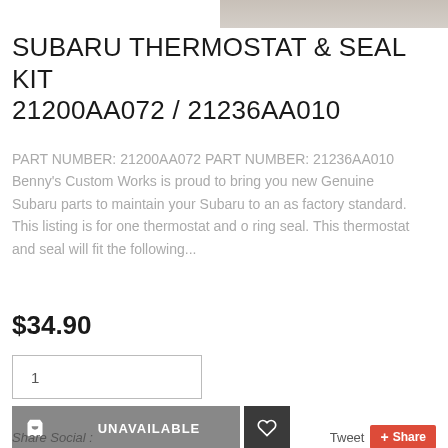[Figure (photo): Partial product image at top of page, showing metallic/chrome component]
SUBARU THERMOSTAT & SEAL KIT 21200AA072 / 21236AA010
PART NUMBER: 21200AA072 PART NUMBER: 21236AA010 Benny's Custom Works is proud to bring you new Genuine Subaru parts to maintain your Subaru to an as factory standard. This listing is for one thermostat and o ring seal. This thermostat and seal will fit the following...
$34.90
1
UNAVAILABLE
Share Social :
Tweet
+ Share